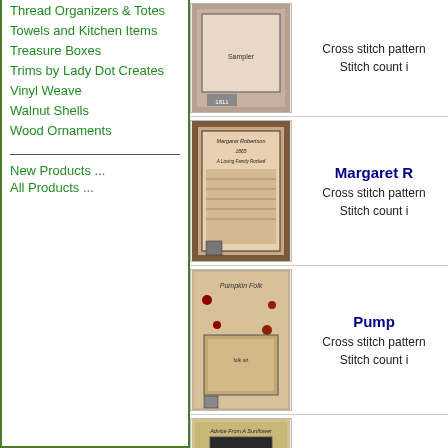Thread Organizers & Totes
Towels and Kitchen Items
Treasure Boxes
Trims by Lady Dot Creates
Vinyl Weave
Walnut Shells
Wood Ornaments
New Products ...
All Products ...
[Figure (photo): Cross stitch sampler product image 1]
Cross stitch pattern
Stitch count i
[Figure (photo): Margaret Robertson 1865 cross stitch sampler]
Margaret R
Cross stitch pattern
Stitch count i
[Figure (photo): Pumpkin Folk cross stitch pattern]
Pump
Cross stitch pattern
Stitch count i
[Figure (photo): Advice From A Sunflower cross stitch pattern]
Advice Fro
Cross stitch pattern
Stitch count i